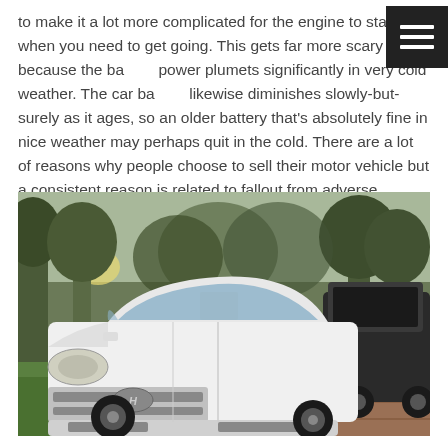to make it a lot more complicated for the engine to start when you need to get going. This gets far more scary because the battery power plumets significantly in very cold weather. The car battery likewise diminishes slowly-but-surely as it ages, so an older battery that's absolutely fine in nice weather may perhaps quit in the cold. There are a lot of reasons why people choose to sell their motor vehicle but a consistent reason is related to fallout from adverse weather.
[Figure (photo): A white Hyundai Accent sedan parked on a brick driveway in a park setting with trees and grass in the background. A dark SUV is visible parked behind it.]